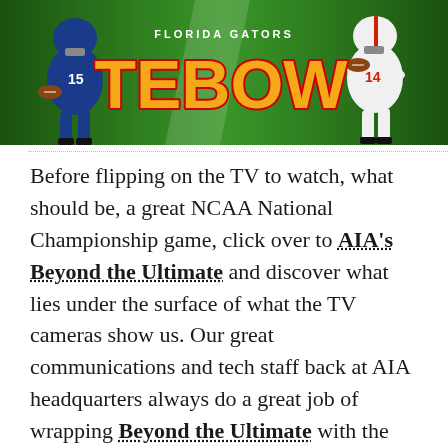[Figure (photo): Florida Gators Tebow banner image showing two football players — one in blue (#15) on the left and one in white (#14) on the right — on a green background with 'FLORIDA GATORS' text and large orange 'TEBOW' lettering in the center]
Before flipping on the TV to watch, what should be, a great NCAA National Championship game, click over to AIA's Beyond the Ultimate and discover what lies under the surface of what the TV cameras show us. Our great communications and tech staff back at AIA headquarters always do a great job of wrapping Beyond the Ultimate with the current national or worldwide supporting event. Check it out. Be encouraged by the stories of young men, who are great athletes, but look to someone other than themselves for true strength! Here is a little preview about Tim Tebow, enjoy! Oh yeah, and enjoy the game! I unfortunately won't stay up for